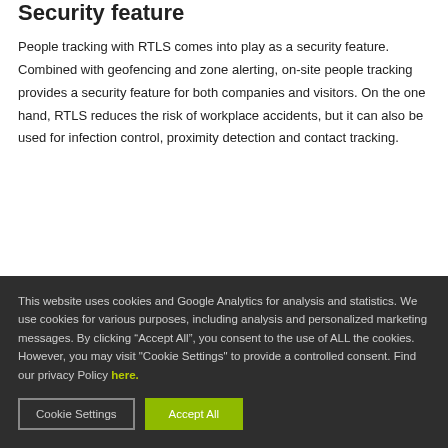Security feature
People tracking with RTLS comes into play as a security feature. Combined with geofencing and zone alerting, on-site people tracking provides a security feature for both companies and visitors. On the one hand, RTLS reduces the risk of workplace accidents, but it can also be used for infection control, proximity detection and contact tracking.
This website uses cookies and Google Analytics for analysis and statistics. We use cookies for various purposes, including analysis and personalized marketing messages. By clicking “Accept All”, you consent to the use of ALL the cookies. However, you may visit "Cookie Settings" to provide a controlled consent. Find our privacy Policy here.